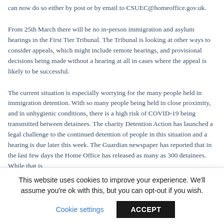can now do so either by post or by email to CSUEC@homeoffice.gov.uk.
From 25th March there will be no in-person immigration and asylum hearings in the First Tier Tribunal. The Tribunal is looking at other ways to consider appeals, which might include remote hearings, and provisional decisions being made without a hearing at all in cases where the appeal is likely to be successful.
The current situation is especially worrying for the many people held in immigration detention. With so many people being held in close proximity, and in unhygienic conditions, there is a high risk of COVID-19 being transmitted between detainees. The charity Detention Action has launched a legal challenge to the continued detention of people in this situation and a hearing is due later this week. The Guardian newspaper has reported that in the last few days the Home Office has released as many as 300 detainees. While that is
This website uses cookies to improve your experience. We'll assume you're ok with this, but you can opt-out if you wish.
Cookie settings
ACCEPT